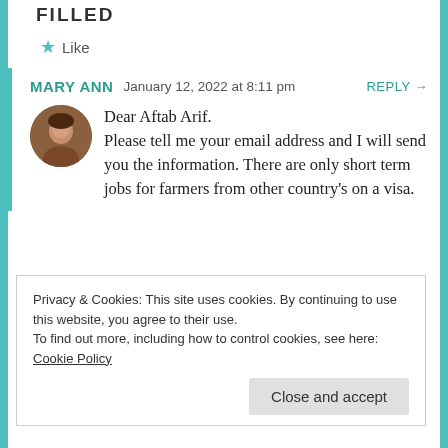FILLED
★ Like
MARY ANN   January 12, 2022 at 8:11 pm   REPLY →
Dear Aftab Arif.
Please tell me your email address and I will send you the information. There are only short term jobs for farmers from other country's on a visa.
Privacy & Cookies: This site uses cookies. By continuing to use this website, you agree to their use.
To find out more, including how to control cookies, see here: Cookie Policy
Close and accept